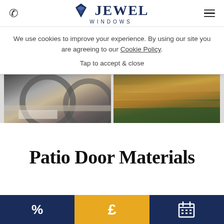Jewel Windows — phone icon, logo, hamburger menu
We use cookies to improve your experience. By using our site you are agreeing to our Cookie Policy.
Tap to accept & close
[Figure (photo): Two photos side by side: left shows metal patio chairs near a white uPVC patio door against brick wall; right shows wooden decking steps with grass lawn.]
Patio Door Materials
% icon (navy) | £ icon (gold) | calendar icon (navy)